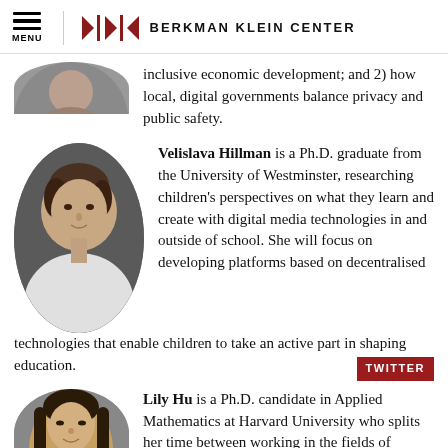MENU | BERKMAN KLEIN CENTER
inclusive economic development; and 2) how local, digital governments balance privacy and public safety.
[Figure (photo): Circular portrait photo of Velislava Hillman]
Velislava Hillman is a Ph.D. graduate from the University of Westminster, researching children's perspectives on what they learn and create with digital media technologies in and outside of school. She will focus on developing platforms based on decentralised technologies that enable children to take an active part in shaping education.
[Figure (photo): Circular portrait photo of Lily Hu (partially visible at bottom)]
Lily Hu is a Ph.D. candidate in Applied Mathematics at Harvard University who splits her time between working in the fields of